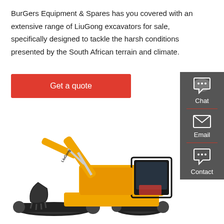BurGers Equipment & Spares has you covered with an extensive range of LiuGong excavators for sale, specifically designed to tackle the harsh conditions presented by the South African terrain and climate.
Get a quote
[Figure (illustration): Sidebar with Chat, Email, and Contact icons on dark grey background with red dividers]
[Figure (photo): Yellow LiuGong mini excavator on white background, viewed from the left side showing the arm, bucket, cab and tracks]